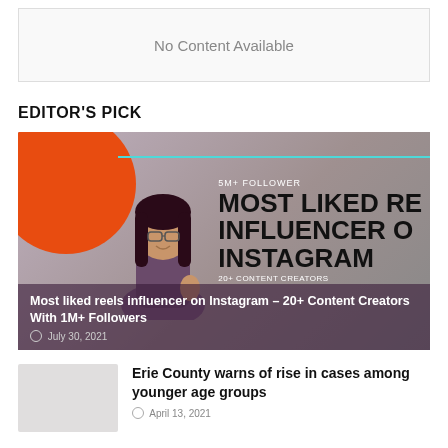No Content Available
EDITOR'S PICK
[Figure (illustration): Featured article image showing an illustrated woman with long dark hair and glasses, orange circle graphic, cyan horizontal line, and text overlay reading '5M+ FOLLOWER MOST LIKED REELS INFLUENCER ON INSTAGRAM 20+ CONTENT CREATORS']
Most liked reels influencer on Instagram – 20+ Content Creators With 1M+ Followers
July 30, 2021
[Figure (photo): Thumbnail image placeholder (light gray box) for Erie County article]
Erie County warns of rise in cases among younger age groups
April 13, 2021